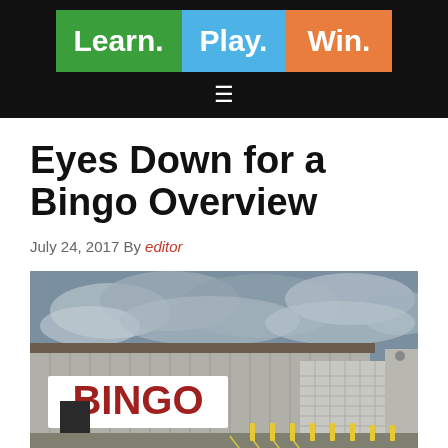Learn. Play. Win.
Eyes Down for a Bingo Overview
July 24, 2017 By editor
[Figure (photo): Exterior photograph of a large bingo hall building with a prominent red 'BINGO' sign on the side, an empty parking lot with yellow lines, and overcast sky]